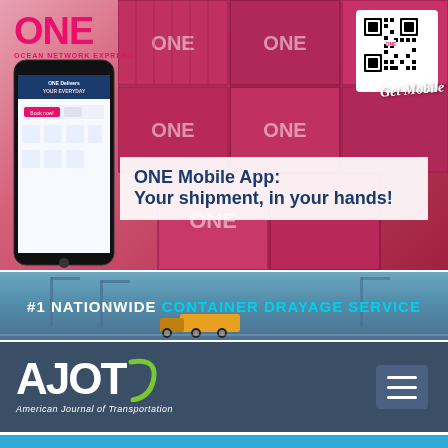[Figure (advertisement): ONE (Ocean Network Express) Mobile App advertisement. Pink shipping containers background. ONE logo top-left in pink. QR code top-right with 'Get Mobile' handwritten text. Smartphone showing the app in bottom-left. White banner with text 'ONE Mobile App: Your shipment, in your hands!' in dark navy blue bold.]
[Figure (advertisement): Container drayage service banner ad with teal/blue background showing truck and port cranes. Text: '#1 NATIONWIDE CONTAINER DRAYAGE SERVICE' with CONTAINER DRAYAGE SERVICE in cyan.]
[Figure (advertisement): AJOT (American Journal of Transportation) website header. Dark blue-gray background. AJOT logo with green swoosh on left. Hamburger menu icon on right.]